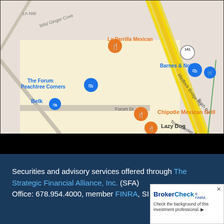[Figure (map): Google Maps screenshot showing area around The Forum Peachtree Corners, including landmarks: La Parrilla Mexican, Barnes & Noble, Chipotle Mexican Grill, Lazy Dog, Belk. Streets visible: Wild Ginger Cove, Forum Dr, Medlock Bridge Rd, Bush Rd, Town Center Dr. Highway 141 visible.]
Securities and advisory services offered through The Strategic Financial Alliance, Inc. (SFA) Office: 678.954.4000, member FINRA, SI...